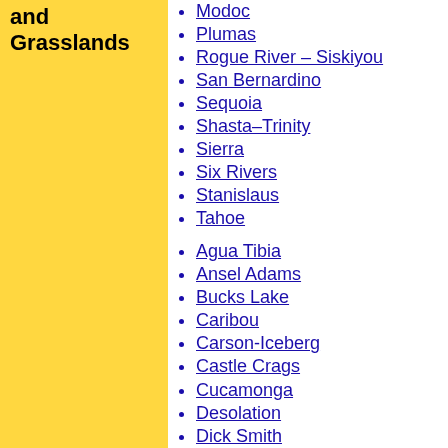and Grasslands
Modoc
Plumas
Rogue River – Siskiyou
San Bernardino
Sequoia
Shasta–Trinity
Sierra
Six Rivers
Stanislaus
Tahoe
Agua Tibia
Ansel Adams
Bucks Lake
Caribou
Carson-Iceberg
Castle Crags
Cucamonga
Desolation
Dick Smith
Dinkey Lakes
Emigrant
Golden Trout
Hoover
Inyo Mountains